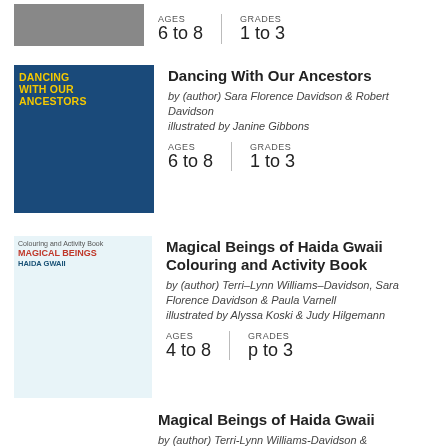[Figure (photo): Book cover (cropped, partial) showing people in a boat]
AGES 6 to 8   GRADES 1 to 3
[Figure (photo): Book cover: Dancing With Our Ancestors — dark blue background with indigenous art face and yellow title text]
Dancing With Our Ancestors
by (author) Sara Florence Davidson & Robert Davidson
illustrated by Janine Gibbons
AGES 6 to 8   GRADES 1 to 3
[Figure (photo): Book cover: Magical Beings of Haida Gwaii Colouring and Activity Book — light background with rainbow and girl in canoe]
Magical Beings of Haida Gwaii Colouring and Activity Book
by (author) Terri-Lynn Williams-Davidson, Sara Florence Davidson & Paula Varnell
illustrated by Alyssa Koski & Judy Hilgemann
AGES 4 to 8   GRADES p to 3
Magical Beings of Haida Gwaii
by (author) Terri-Lynn Williams-Davidson &...